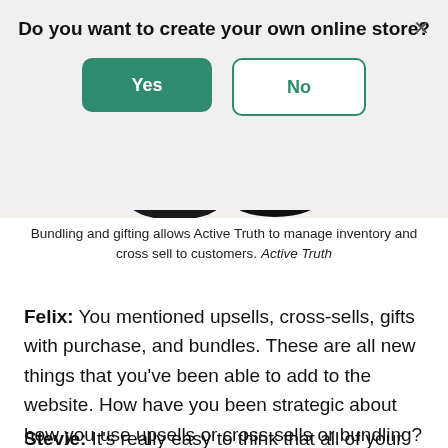Do you want to create your own online store?
[Figure (screenshot): Dialog box with Yes (green button) and No (outlined button) options, and a close X button]
[Figure (photo): Partial photo showing legs and black shoes against white background]
Bundling and gifting allows Active Truth to manage inventory and cross sell to customers. Active Truth
Felix: You mentioned upsells, cross-sells, gifts with purchase, and bundles. These are all new things that you've been able to add to the website. How have you been strategic about how you use upsells or cross-sells or bundling?
Stevie: It's really easy to think that all of your